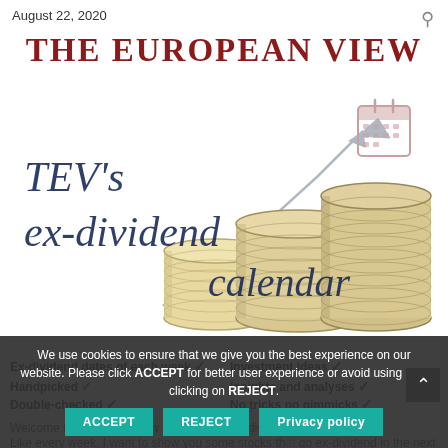August 22, 2020
THE EUROPEAN VIEW
[Figure (illustration): Decorative illustration showing stacked gold coins with an upward trend arrow and a calendar icon, with cursive text overlay reading "TEV's ex-dividend calendar"]
Ex-dividend dates of each week ✓
Handpicked ✓
Double-checked ✓
Investment ideas ✓
Insights and analyses ✓
No tricks no gimmicks ✓
Welcome to a new overview of upcoming ex-dividend dates.
Like every week, I want to show you some stocks that go ex-dividend in the next days. I'll also review ...
We use cookies to ensure that we give you the best experience on our website. Please click ACCEPT for better user experience or avoid using it by clicking on REJECT.